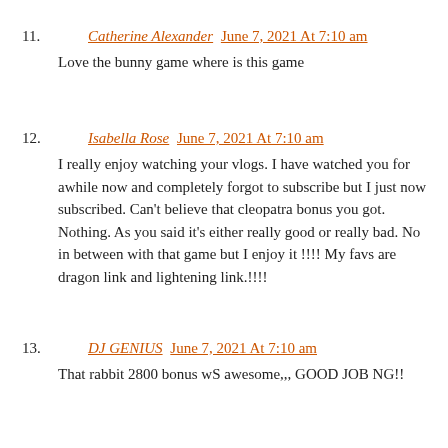11. Catherine Alexander June 7, 2021 At 7:10 am
Love the bunny game where is this game
12. Isabella Rose June 7, 2021 At 7:10 am
I really enjoy watching your vlogs. I have watched you for awhile now and completely forgot to subscribe but I just now subscribed. Can’t believe that cleopatra bonus you got. Nothing. As you said it’s either really good or really bad. No in between with that game but I enjoy it !!!! My favs are dragon link and lightening link.!!!!
13. DJ GENIUS June 7, 2021 At 7:10 am
That rabbit 2800 bonus wS awesome,,, GOOD JOB NG!!